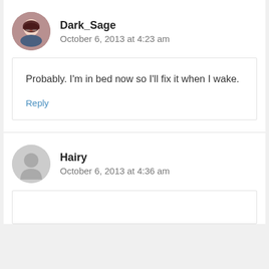Dark_Sage
October 6, 2013 at 4:23 am
Probably. I'm in bed now so I'll fix it when I wake.
Reply
Hairy
October 6, 2013 at 4:36 am